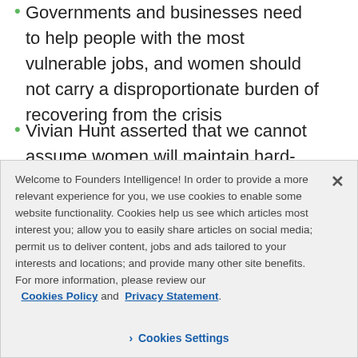Governments and businesses need to help people with the most vulnerable jobs, and women should not carry a disproportionate burden of recovering from the crisis
Vivian Hunt asserted that we cannot assume women will maintain hard-won equalities like
Welcome to Founders Intelligence! In order to provide a more relevant experience for you, we use cookies to enable some website functionality. Cookies help us see which articles most interest you; allow you to easily share articles on social media; permit us to deliver content, jobs and ads tailored to your interests and locations; and provide many other site benefits. For more information, please review our Cookies Policy and Privacy Statement.
Cookies Settings